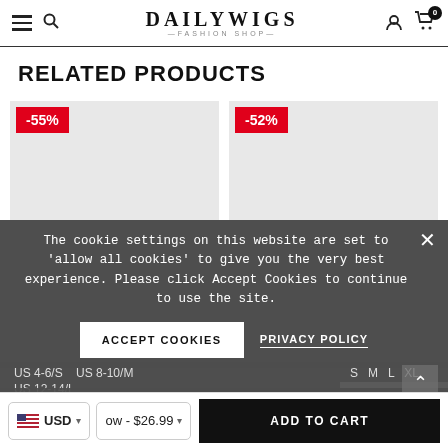DAILYWIGS —FASHION SHOP—
RELATED PRODUCTS
[Figure (photo): Product card with -55% discount badge on grey background]
[Figure (photo): Product card with -52% discount badge on grey background]
The cookie settings on this website are set to 'allow all cookies' to give you the very best experience. Please click Accept Cookies to continue to use the site.
US 4-6/S  US 8-10/M
US 12-14/L
S  M  L  XL
YINVITE
VONGHE
USD  ow - $26.99
ADD TO CART